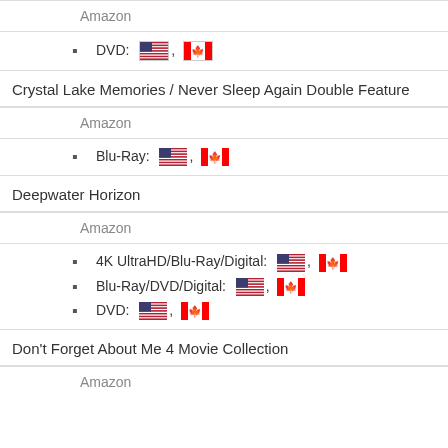Amazon
DVD: [US flag], [CA flag]
Crystal Lake Memories / Never Sleep Again Double Feature
Amazon
Blu-Ray: [US flag], [CA flag]
Deepwater Horizon
Amazon
4K UltraHD/Blu-Ray/Digital: [US flag], [CA flag]
Blu-Ray/DVD/Digital: [US flag], [CA flag]
DVD: [US flag], [CA flag]
Don't Forget About Me 4 Movie Collection
Amazon